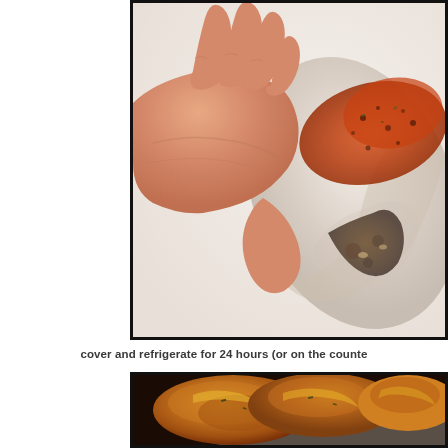[Figure (photo): A hand pressing spice rub and dark marinade paste under the skin of a raw chicken breast on a white surface]
cover and refrigerate for 24 hours (or on the counte
[Figure (photo): Close-up of cooked golden-brown spiced chicken pieces on a white plate]